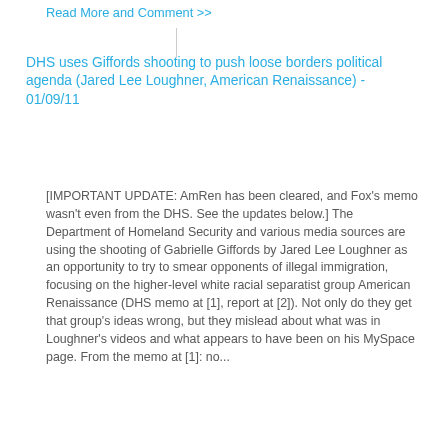Read More and Comment >>
DHS uses Giffords shooting to push loose borders political agenda (Jared Lee Loughner, American Renaissance) - 01/09/11
[IMPORTANT UPDATE: AmRen has been cleared, and Fox's memo wasn't even from the DHS. See the updates below.] The Department of Homeland Security and various media sources are using the shooting of Gabrielle Giffords by Jared Lee Loughner as an opportunity to try to smear opponents of illegal immigration, focusing on the higher-level white racial separatist group American Renaissance (DHS memo at [1], report at [2]). Not only do they get that group's ideas wrong, but they mislead about what was in Loughner's videos and what appears to have been on his MySpace page. From the memo at [1]: no...
Read More and Comment >>
Rep. Gabrielle Giffords, several others shot; Palin, Tea Party candidate - 01/08/11
UPDATES BELOW Rep. Gabrielle Giffords and several others were shot earlier today and there are